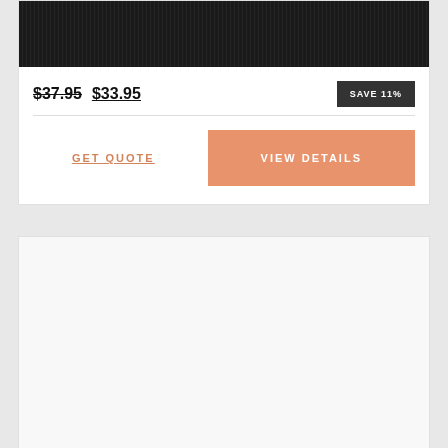[Figure (photo): Dark textured product image with vertical stripe pattern on black background]
$37.95  $33.95  SAVE 11%
GET QUOTE
VIEW DETAILS
[Figure (photo): Second product card, blank/white content area]